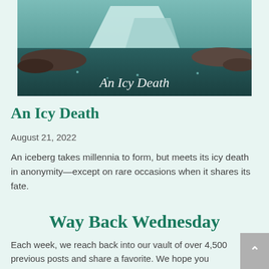[Figure (photo): Book cover image for 'An Icy Death' showing an iceberg scene with text overlay]
An Icy Death
August 21, 2022
An iceberg takes millennia to form, but meets its icy death in anonymity—except on rare occasions when it shares its fate.
Way Back Wednesday
Each week, we reach back into our vault of over 4,500 previous posts and share a favorite. We hope you enjoy this look back.